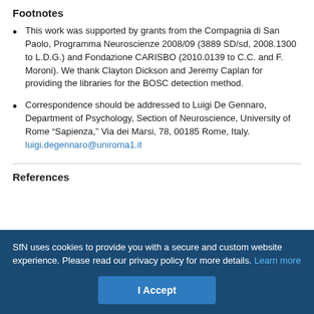Footnotes
This work was supported by grants from the Compagnia di San Paolo, Programma Neuroscienze 2008/09 (3889 SD/sd, 2008.1300 to L.D.G.) and Fondazione CARISBO (2010.0139 to C.C. and F. Moroni). We thank Clayton Dickson and Jeremy Caplan for providing the libraries for the BOSC detection method.
Correspondence should be addressed to Luigi De Gennaro, Department of Psychology, Section of Neuroscience, University of Rome “Sapienza,” Via dei Marsi, 78, 00185 Rome, Italy. luigi.degennaro@uniroma1.it
References
SfN uses cookies to provide you with a secure and custom website experience. Please read our privacy policy for more details. Learn more